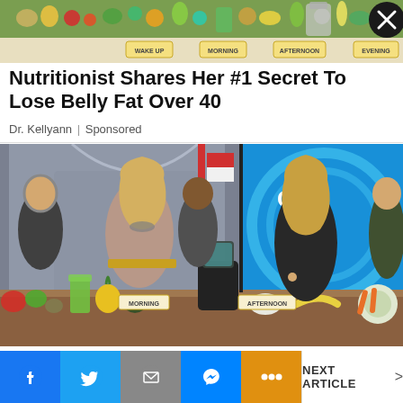[Figure (photo): Top banner ad showing food items for different meal times (Wake Up, Morning, Afternoon, Evening) with a close button (X) on the right]
Nutritionist Shares Her #1 Secret To Lose Belly Fat Over 40
Dr. Kellyann | Sponsored
[Figure (photo): TV show scene showing two women on what appears to be Good Morning America set, with food and a blender on a table. Labels visible: Morning, Afternoon, Evening. Good Morning America logo visible on right side.]
Facebook | Twitter | Email | Messenger | More | NEXT ARTICLE >